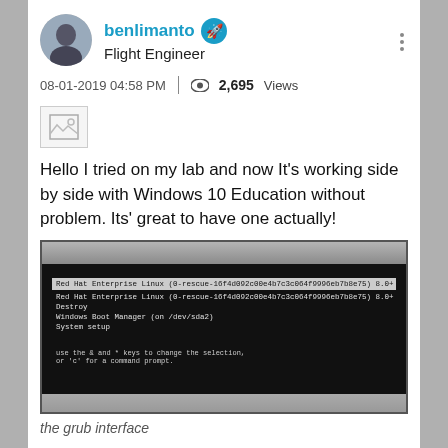benlimanto | Flight Engineer
08-01-2019 04:58 PM | 2,695 Views
[Figure (photo): Image placeholder icon]
Hello I tried on my lab and now It's working side by side with Windows 10 Education without problem. Its' great to have one actually!
[Figure (photo): Photo of a computer monitor showing the GRUB bootloader interface with options: Red Hat Enterprise Linux, Destroy, Windows Boot Manager (on /dev/sda2), System setup. Bottom text reads: use the & and * keys to change the selection, or 'c' for a command prompt.]
the grub interface